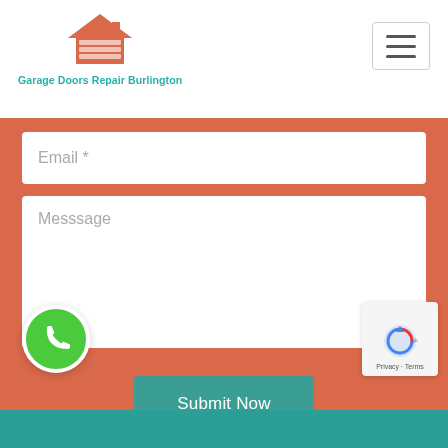Garage Doors Repair Burlington
[Figure (screenshot): Contact form on orange/salmon background with Email and Message fields, a teal Submit Now button, a green phone FAB, and a reCAPTCHA badge. Below is a teal footer bar.]